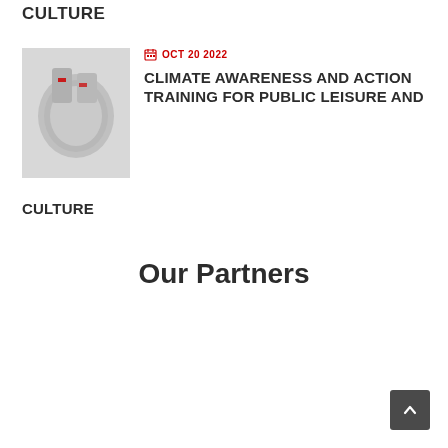CULTURE
[Figure (photo): A grayscale photo showing what appears to be a bowling ball or sports equipment held in hands, with a red element visible.]
OCT 20 2022
CLIMATE AWARENESS AND ACTION TRAINING FOR PUBLIC LEISURE AND CULTURE
Our Partners